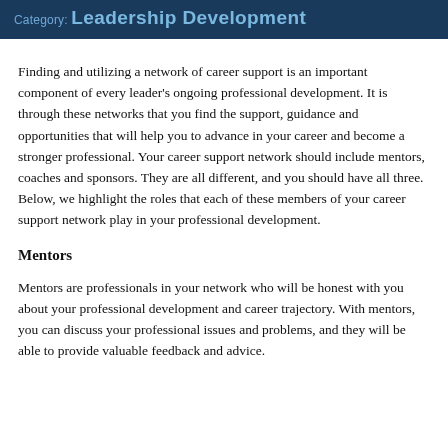Category: Leadership Development
Finding and utilizing a network of career support is an important component of every leader’s ongoing professional development. It is through these networks that you find the support, guidance and opportunities that will help you to advance in your career and become a stronger professional. Your career support network should include mentors, coaches and sponsors. They are all different, and you should have all three. Below, we highlight the roles that each of these members of your career support network play in your professional development.
Mentors
Mentors are professionals in your network who will be honest with you about your professional development and career trajectory. With mentors, you can discuss your professional issues and problems, and they will be able to provide valuable feedback and advice.